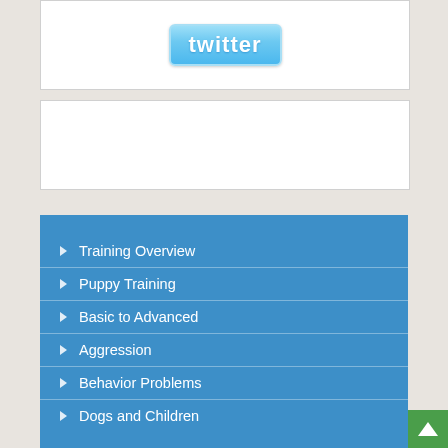[Figure (logo): Twitter logo button with light blue gradient background and white 'twitter' text]
[Figure (other): White rectangular content box, empty]
Training Overview
Puppy Training
Basic to Advanced
Aggression
Behavior Problems
Dogs and Children
Session Options Overview
Private In-Home Training
Dog Services and Stores
Dog Products